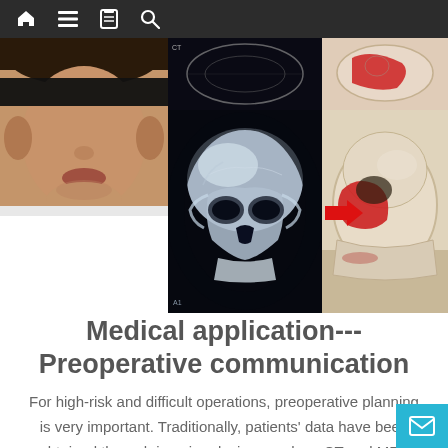Navigation bar with home, menu, book, and search icons
[Figure (photo): Composite medical image showing: patient face photo (with black bar over eyes for anonymity), CT scan images, 3D reconstructed skull CT scan, and physical skull models with red implant highlights. Red arrows pointing from CT scan to skull CT, and from skull CT to physical model.]
Medical application--- Preoperative communication
For high-risk and difficult operations, preoperative planning is very important. Traditionally, patients' data have been obtained through imaging devices such as CT and MRI, which serve as the basis for doctors' preoperative planning. However, the obtained medi